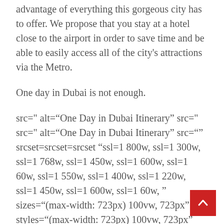advantage of everything this gorgeous city has to offer. We propose that you stay at a hotel close to the airport in order to save time and be able to easily access all of the city's attractions via the Metro.
One day in Dubai is not enough.
src=" alt="One Day in Dubai Itinerary" src=" src=" alt="One Day in Dubai Itinerary" src="" srcset=srcset=srcset "ssl=1 800w, ssl=1 300w, ssl=1 768w, ssl=1 450w, ssl=1 600w, ssl=1 60w, ssl=1 550w, ssl=1 400w, ssl=1 220w, ssl=1 450w, ssl=1 600w, ssl=1 60w, " sizes="(max-width: 723px) 100vw, 723px" styles="(max-width: 723px) 100vw, 723px" data-recalc-dims="1"> The Dubai Wikia is a guest post by NEUABLOG